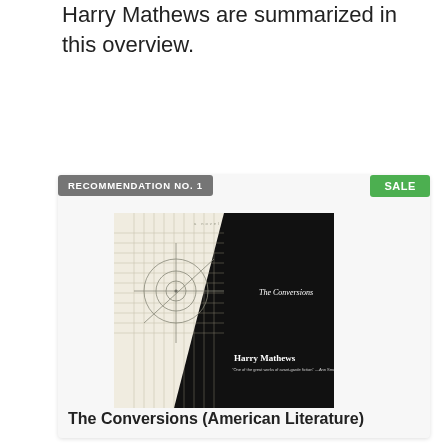Harry Mathews are summarized in this overview.
RECOMMENDATION NO. 1
SALE
[Figure (photo): Book cover of 'The Conversions' by Harry Mathews. Black and white cover with geometric line drawings (circles, grid lines) on a light background, contrasted with a large black diagonal area. Text reads 'The Conversions' and 'Harry Mathews' with a quote.]
The Conversions (American Literature)